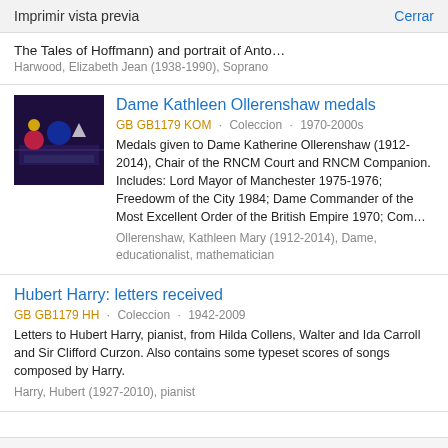Imprimir vista previa  Cerrar
The Tales of Hoffmann) and portrait of Anto…
Harwood, Elizabeth Jean (1938-1990), Soprano
Dame Kathleen Ollerenshaw medals
GB GB1179 KOM · Coleccion · 1970-2000s
Medals given to Dame Katherine Ollerenshaw (1912-2014), Chair of the RNCM Court and RNCM Companion. Includes: Lord Mayor of Manchester 1975-1976; Freedowm of the City 1984; Dame Commander of the Most Excellent Order of the British Empire 1970; Com…
Ollerenshaw, Kathleen Mary (1912-2014), Dame, educationalist, mathematician
Hubert Harry: letters received
GB GB1179 HH · Coleccion · 1942-2009
Letters to Hubert Harry, pianist, from Hilda Collens, Walter and Ida Carroll and Sir Clifford Curzon. Also contains some typeset scores of songs composed by Harry.
Harry, Hubert (1927-2010), pianist